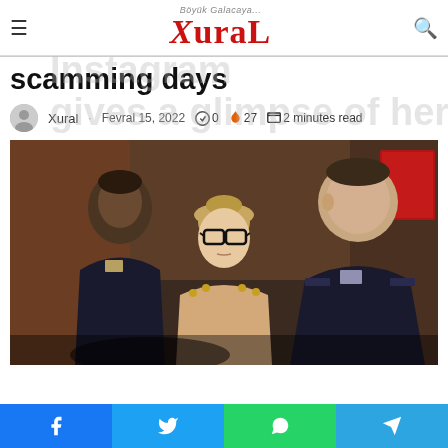XuraL — Böyük Galacaya...
Anna Delvey's Instagram gives a glimpse of her scamming days
Xural · Fevral 15, 2022 · 0 · 27 · 2 minutes read
[Figure (photo): A woman with glasses and an updo wearing a beige top, flanked by two uniformed officers in a courthouse setting.]
Share buttons: Facebook, Twitter, WhatsApp, Telegram